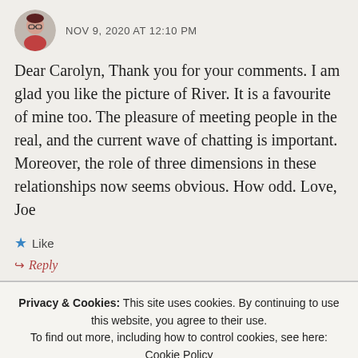NOV 9, 2020 AT 12:10 PM
Dear Carolyn, Thank you for your comments. I am glad you like the picture of River. It is a favourite of mine too. The pleasure of meeting people in the real, and the current wave of chatting is important. Moreover, the role of three dimensions in these relationships now seems obvious. How odd. Love, Joe
★ Like
↪ Reply
Privacy & Cookies: This site uses cookies. By continuing to use this website, you agree to their use. To find out more, including how to control cookies, see here: Cookie Policy
Close and accept
patients for whom remote consultations can never